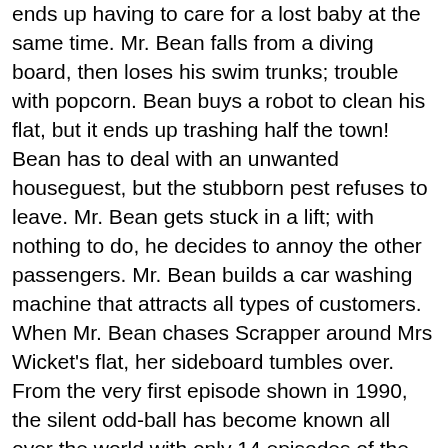ends up having to care for a lost baby at the same time. Mr. Bean falls from a diving board, then loses his swim trunks; trouble with popcorn. Bean buys a robot to clean his flat, but it ends up trashing half the town! Bean has to deal with an unwanted houseguest, but the stubborn pest refuses to leave. Mr. Bean gets stuck in a lift; with nothing to do, he decides to annoy the other passengers. Mr. Bean builds a car washing machine that attracts all types of customers. When Mr. Bean chases Scrapper around Mrs Wicket's flat, her sideboard tumbles over. From the very first episode shown in 1990, the silent odd-ball has become known all over the world with only 14 episodes of the television series ever made. 5:25 AM PST Here are some well-known faces from Sundance over the years, as they brought their early movies to the festival. But Scrapper is so vicious and scary he starts tearing up the house.Part Two (The Bottle): Mr. Bean buys a bottle with a boat in it, but loses it. Mr. Bean takes Teddy on holiday, but a little girl at the hotel wants Teddy all to herself. Mr. Bean enters a competition to win a whole trolley of free food. Follow.